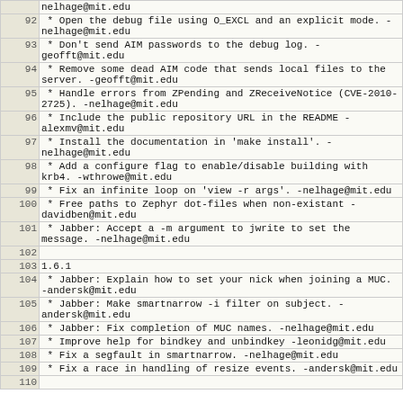| line | content |
| --- | --- |
|  | nelhage@mit.edu |
| 92 |  * Open the debug file using O_EXCL and an explicit mode. -nelhage@mit.edu |
| 93 |  * Don't send AIM passwords to the debug log. -geofft@mit.edu |
| 94 |  * Remove some dead AIM code that sends local files to the server. -geofft@mit.edu |
| 95 |  * Handle errors from ZPending and ZReceiveNotice (CVE-2010-2725). -nelhage@mit.edu |
| 96 |  * Include the public repository URL in the README -alexmv@mit.edu |
| 97 |  * Install the documentation in 'make install'. -nelhage@mit.edu |
| 98 |  * Add a configure flag to enable/disable building with krb4. -wthrowe@mit.edu |
| 99 |  * Fix an infinite loop on 'view -r args'. -nelhage@mit.edu |
| 100 |  * Free paths to Zephyr dot-files when non-existant -davidben@mit.edu |
| 101 |  * Jabber: Accept a -m argument to jwrite to set the message. -nelhage@mit.edu |
| 102 |  |
| 103 | 1.6.1 |
| 104 |  * Jabber: Explain how to set your nick when joining a MUC. -andersk@mit.edu |
| 105 |  * Jabber: Make smartnarrow -i filter on subject. -andersk@mit.edu |
| 106 |  * Jabber: Fix completion of MUC names. -nelhage@mit.edu |
| 107 |  * Improve help for bindkey and unbindkey -leonidg@mit.edu |
| 108 |  * Fix a segfault in smartnarrow. -nelhage@mit.edu |
| 109 |  * Fix a race in handling of resize events. -andersk@mit.edu |
| 110 |  |